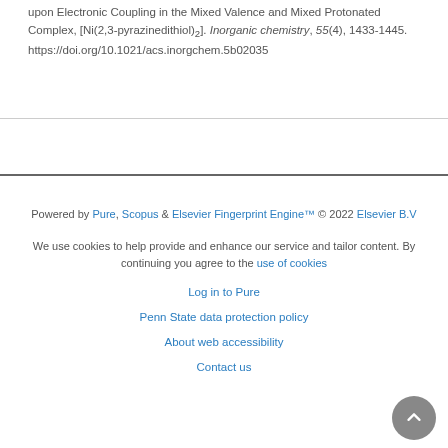upon Electronic Coupling in the Mixed Valence and Mixed Protonated Complex, [Ni(2,3-pyrazinedithiol)2]. Inorganic chemistry, 55(4), 1433-1445. https://doi.org/10.1021/acs.inorgchem.5b02035
Powered by Pure, Scopus & Elsevier Fingerprint Engine™ © 2022 Elsevier B.V
We use cookies to help provide and enhance our service and tailor content. By continuing you agree to the use of cookies
Log in to Pure
Penn State data protection policy
About web accessibility
Contact us